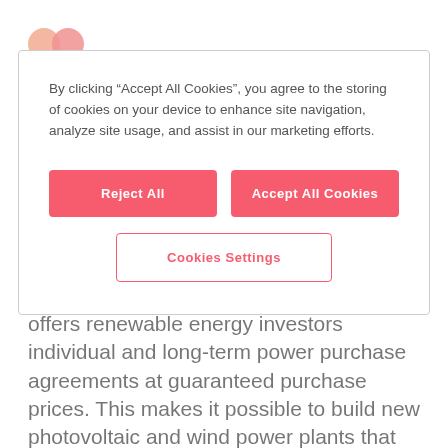[Figure (logo): Overlapping orange and red circles logo mark]
By clicking “Accept All Cookies”, you agree to the storing of cookies on your device to enhance site navigation, analyze site usage, and assist in our marketing efforts.
Reject All
Accept All Cookies
Cookies Settings
offers renewable energy investors individual and long-term power purchase agreements at guaranteed purchase prices. This makes it possible to build new photovoltaic and wind power plants that are not subsidised with a fixed feed-in tariff. There is also great interest on the part of consumers. Many energy-intensive industrial companies want to commit